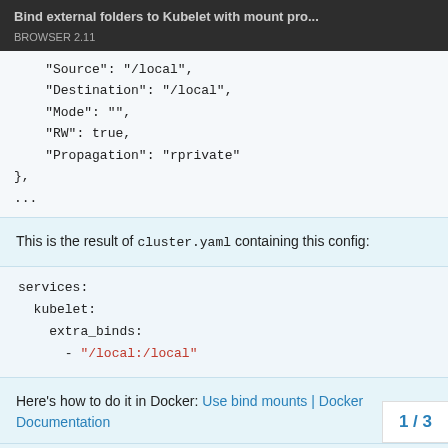Bind external folders to Kubelet with mount pro...
BROWSER 2.11
"Source": "/local",
    "Destination": "/local",
    "Mode": "",
    "RW": true,
    "Propagation": "rprivate"
},
...
This is the result of cluster.yaml containing this config:
services:
  kubelet:
    extra_binds:
      - "/local:/local"
Here's how to do it in Docker: Use bind mounts | Docker Documentation
But how do I tell Rancher to bind the folde...
1 / 3